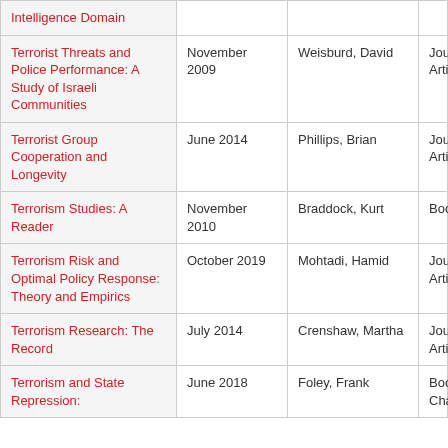| Title | Date | Author | Type |
| --- | --- | --- | --- |
| Intelligence Domain |  |  |  |
| Terrorist Threats and Police Performance: A Study of Israeli Communities | November 2009 | Weisburd, David | Journal Article |
| Terrorist Group Cooperation and Longevity | June 2014 | Phillips, Brian | Journal Article |
| Terrorism Studies: A Reader | November 2010 | Braddock, Kurt | Book |
| Terrorism Risk and Optimal Policy Response: Theory and Empirics | October 2019 | Mohtadi, Hamid | Journal Article |
| Terrorism Research: The Record | July 2014 | Crenshaw, Martha | Journal Article |
| Terrorism and State Repression: | June 2018 | Foley, Frank | Book Chapter |